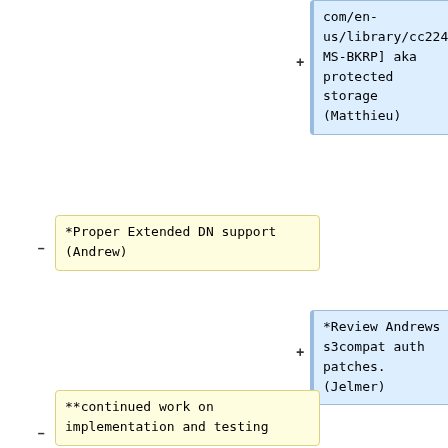com/en-us/library/cc224123%28v=PROT.13%29.aspx MS-BKRP] aka protected storage (Matthieu)
*Proper Extended DN support (Andrew)
*Review Andrews s3compat auth patches. (Jelmer)
**continued work on implementation and testing